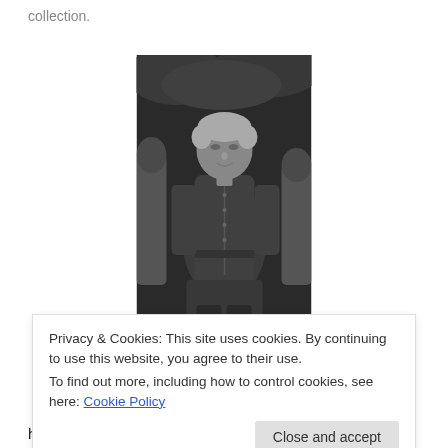collection.
[Figure (photo): Black and white photograph of an elderly woman standing outdoors, wearing a dark dress with buttons, with foliage visible in the background.]
Privacy & Cookies: This site uses cookies. By continuing to use this website, you agree to their use.
To find out more, including how to control cookies, see here: Cookie Policy
Close and accept
husband Gilbert SPEIRS (above), their only child. I have